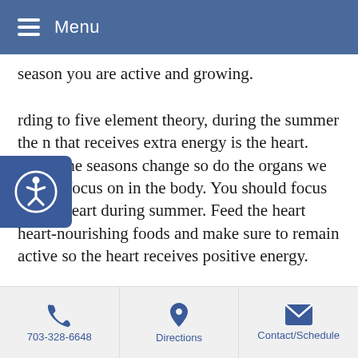Menu
season you are active and growing.
According to five element theory, during the summer the organ that receives extra energy is the heart. When the seasons change so do the organs we should focus on in the body. You should focus on the heart during summer. Feed the heart heart-nourishing foods and make sure to remain active so the heart receives positive energy.
When summertime and the summer solstice arrives it is very important and integral to your body to remain active. An activity such as swimming can be very beneficial. Swimming allows you to move within the cool yin of water and this can assist in balancing the hot Qi that comes with the onset of summer. Make sure to keep your
703-328-6648   Directions   Contact/Schedule